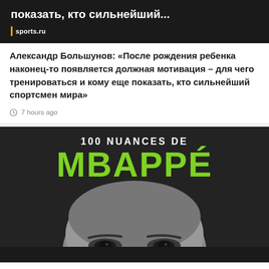[Figure (screenshot): Partial news article image with dark background, white text showing 'показать, кто сильнейший...' and sports.ru logo badge]
Александр Большунов: «После рождения ребенка наконец-то появляется должная мотивация – для чего тренироваться и кому еще показать, кто сильнейший спортсмен мира»
7 hours ago
[Figure (photo): Book or article cover image with dark background, '100 NUANCES DE' in white text and 'MBAPPÉ' in large green text, with close-up face of Kylian Mbappé showing eyes and forehead]
Les multiples facettes de Kylian Mbappé en 100 nuances
8 hours ago